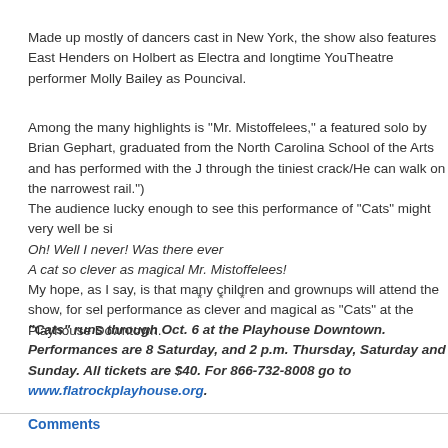Made up mostly of dancers cast in New York, the show also features East Henders on Holbert as Electra and longtime YouTheatre performer Molly Bailey as Pouncival.
Among the many highlights is "Mr. Mistoffelees," a featured solo by Brian Gephart, graduated from the North Carolina School of the Arts and has performed with the J through the tiniest crack/He can walk on the narrowest rail.") The audience lucky enough to see this performance of "Cats" might very well be si Oh! Well I never! Was there ever A cat so clever as magical Mr. Mistoffelees! My hope, as I say, is that many children and grownups will attend the show, for sel performance as clever and magical as "Cats" at the Playhouse Downtown.
* * *
"Cats" runs through Oct. 6 at the Playhouse Downtown. Performances are 8 Saturday, and 2 p.m. Thursday, Saturday and Sunday. All tickets are $40. For 866-732-8008 go to www.flatrockplayhouse.org.
Comments